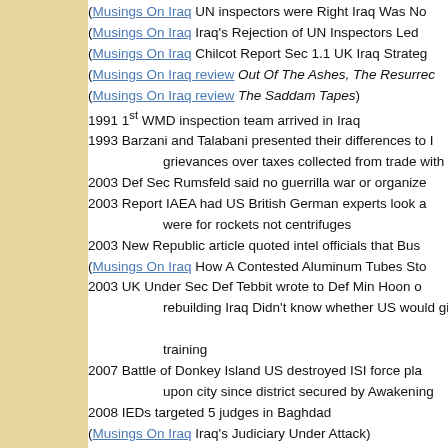(Musings On Iraq UN inspectors were Right Iraq Was No...
(Musings On Iraq Iraq's Rejection of UN Inspectors Led...
(Musings On Iraq Chilcot Report Sec 1.1 UK Iraq Strate...
(Musings On Iraq review Out Of The Ashes, The Resurre...
(Musings On Iraq review The Saddam Tapes)
1991 1st WMD inspection team arrived in Iraq
1993 Barzani and Talabani presented their differences to... grievances over taxes collected from trade with Ira...
2003 Def Sec Rumsfeld said no guerrilla war or organize...
2003 Report IAEA had US British German experts look a... were for rockets not centrifuges
2003 New Republic article quoted intel officials that Bus...
(Musings On Iraq How A Contested Aluminum Tubes Sto...
2003 UK Under Sec Def Tebbit wrote to Def Min Hoon o... rebuilding Iraq Didn't know whether US would gi... training
2007 Battle of Donkey Island US destroyed ISI force pla... upon city since district secured by Awakening
2008 IEDs targeted 5 judges in Baghdad
(Musings On Iraq Iraq's Judiciary Under Attack)
2008 Iraq offered Battlefield and Rumsfeld...